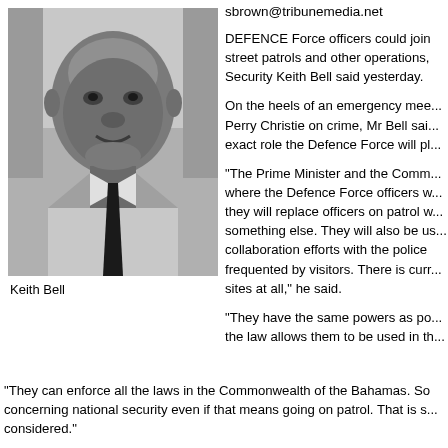[Figure (photo): Black and white portrait photograph of Keith Bell, a man in a light-colored shirt and dark tie, smiling slightly.]
Keith Bell
sbrown@tribunemedia.net
DEFENCE Force officers could join street patrols and other operations, Security Keith Bell said yesterday.
On the heels of an emergency meeting with Perry Christie on crime, Mr Bell said the exact role the Defence Force will play...
"The Prime Minister and the Commissioner where the Defence Force officers will... they will replace officers on patrol or something else. They will also be used in collaboration efforts with the police frequented by visitors. There is currently no sites at all," he said.
"They have the same powers as police, the law allows them to be used in th...
"They can enforce all the laws in the Commonwealth of the Bahamas. So concerning national security even if that means going on patrol. That is something being considered."